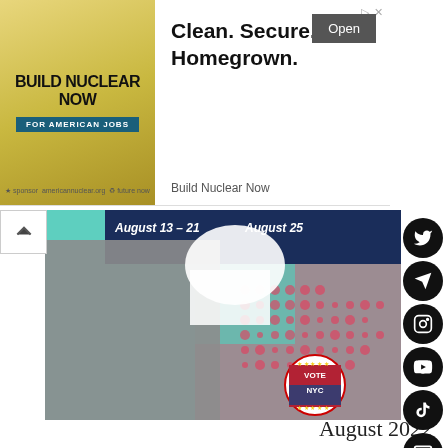[Figure (infographic): Advertisement banner for 'Build Nuclear Now' campaign: left side shows stylized yellow/gold banner with text 'BUILD NUCLEAR NOW FOR AMERICAN JOBS'; right side shows text 'Clean. Secure. Homegrown.' with an 'Open' button and brand name 'Build Nuclear Now']
[Figure (photo): NYC voting campaign poster showing a Black woman holding a megaphone against a colorful pop-art style background with teal and pink halftone patterns and a 'VOTE NYC' button badge. Text 'August 13-21 August 25' visible at top.]
August 2022